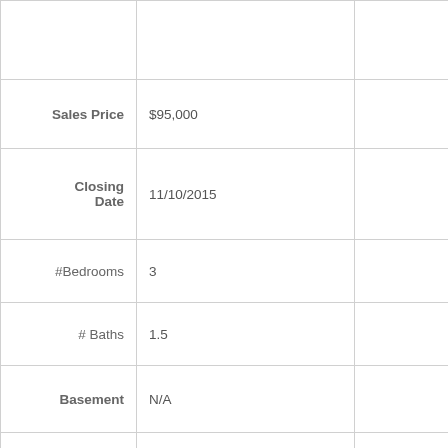| Field | Value |  |
| --- | --- | --- |
|  |  |  |
| Sales Price | $95,000 |  |
| Closing Date | 11/10/2015 |  |
| #Bedrooms | 3 |  |
| # Baths | 1.5 |  |
| Basement | N/A |  |
| Garage | Detached 20' X 24' Garage |  |
| Land | 100' X 200' Lot |  |
| Sq. Feet | 1224+/- |  |
| School District | Lebanon Elementary / St. Charles Middle |  |
| Items | Kitchen Stove |  |